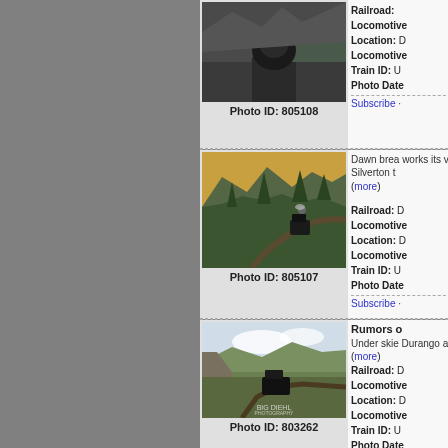[Figure (photo): Steam locomotive on tracks near a river, black and white style photo]
Photo ID: 805108
Railroad: Locomotive: Location: L Locomotive: Train ID: U Photo Date: Subscribe
[Figure (photo): Aerial view of steam train winding through mountain forested landscape at dawn]
Photo ID: 805107
Dawn brea works its v Silverton t (more) Railroad: D Locomotive: Location: D Locomotive: Train ID: U Photo Date Subscribe
[Figure (photo): Steam locomotive on tracks through rocky forested terrain, Big Diehl Photography watermark]
Photo ID: 803262
Rumors o Under skie Durango a (more) Railroad: D Locomotive: Location: D Locomotive: Train ID: U Photo Date Subscribe